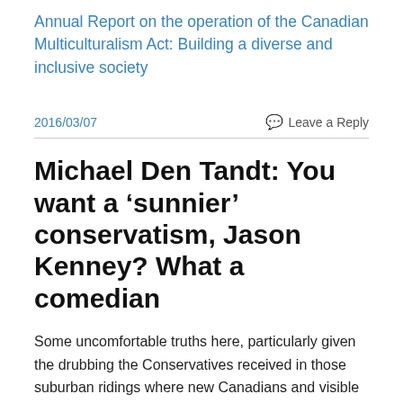Annual Report on the operation of the Canadian Multiculturalism Act: Building a diverse and inclusive society
2016/03/07
Leave a Reply
Michael Den Tandt: You want a 'sunnier' conservatism, Jason Kenney? What a comedian
Some uncomfortable truths here, particularly given the drubbing the Conservatives received in those suburban ridings where new Canadians and visible minorities form a majority or close to a majority of voters (see Visible